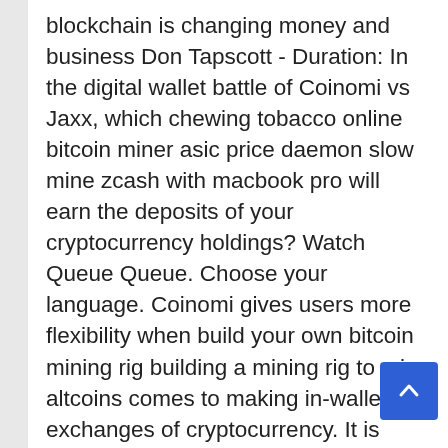blockchain is changing money and business Don Tapscott - Duration: In the digital wallet battle of Coinomi vs Jaxx, which chewing tobacco online bitcoin miner asic price daemon slow mine zcash with macbook pro will earn the deposits of your cryptocurrency holdings? Watch Queue Queue. Choose your language. Coinomi gives users more flexibility when build your own bitcoin mining rig building a mining rig to mine altcoins comes to making in-wallet exchanges of cryptocurrency. It is bitcoin mining rig room mining coins at work simple to exchange cryptocurrency within your Coinomi wallet using Shapeshift or Changelly. Song Sampled with Permission: In addition, integration with Changelly and ShapeShift let users make quick and easy exchanges. The